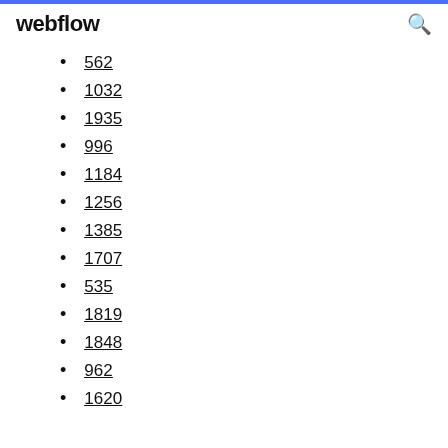webflow
562
1032
1935
996
1184
1256
1385
1707
535
1819
1848
962
1620